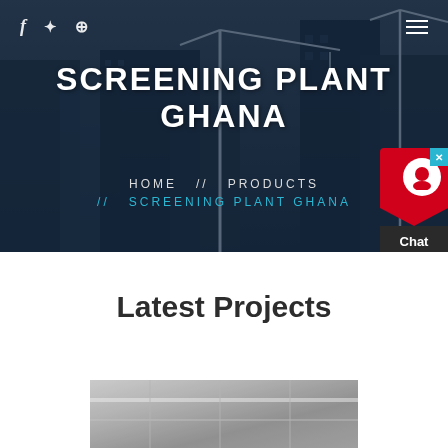[Figure (screenshot): Hero banner showing construction site with cranes and dark blue overlay. Contains navigation icons, site title, and breadcrumb navigation.]
SCREENING PLANT GHANA
HOME // PRODUCTS // SCREENING PLANT GHANA
Latest Projects
[Figure (photo): Partial view of industrial screening plant interior, showing structural steel beams and construction equipment.]